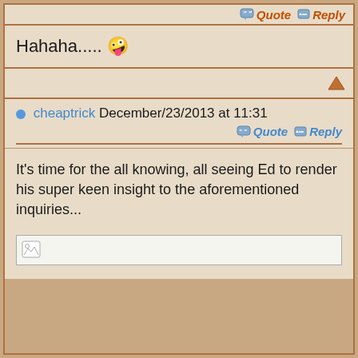Quote  Reply
Hahaha.....😊
[Figure (other): Up arrow icon (orange triangle pointing up)]
cheaptrick December/23/2013 at 11:31
Quote  Reply
It's time for the all knowing, all seeing Ed to render his super keen insight to the aforementioned inquiries...
[Figure (other): Broken image placeholder with small image icon in top-left corner]